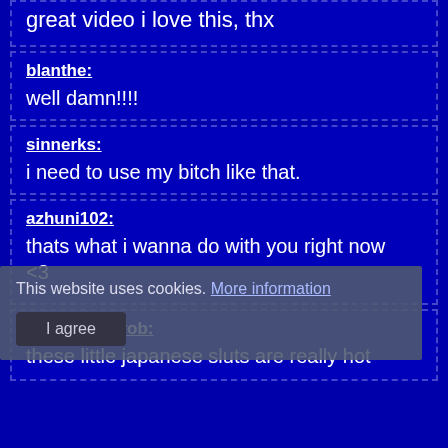great video i love this, thx
blanthe:
well damn!!!!
sinnerks:
i need to use my bitch like that.
azhuni102:
thats what i wanna do with you right now <3
This website uses cookies. More information
brazner_zigrob:
these little japanese sluts are really hot